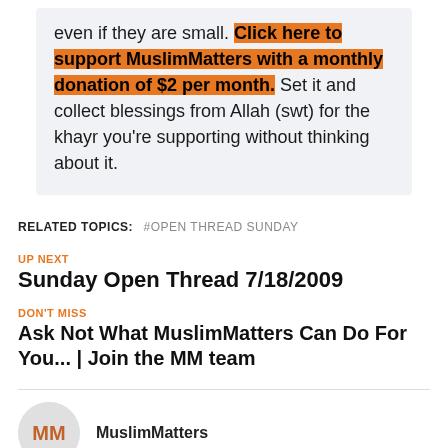even if they are small. Click here to support MuslimMatters with a monthly donation of $2 per month. Set it and collect blessings from Allah (swt) for the khayr you're supporting without thinking about it.
RELATED TOPICS: #OPEN THREAD SUNDAY
UP NEXT
Sunday Open Thread 7/18/2009
DON'T MISS
Ask Not What MuslimMatters Can Do For You... | Join the MM team
MuslimMatters